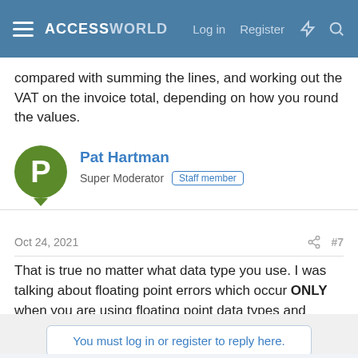ACCESSWORLD  Log in  Register
compared with summing the lines, and working out the VAT on the invoice total, depending on how you round the values.
Pat Hartman
Super Moderator  Staff member
Oct 24, 2021  #7
That is true no matter what data type you use. I was talking about floating point errors which occur ONLY when you are using floating point data types and never with currency.
You must log in or register to reply here.
Similar threads
TransferSpreadsheet - Output column order not matching query order